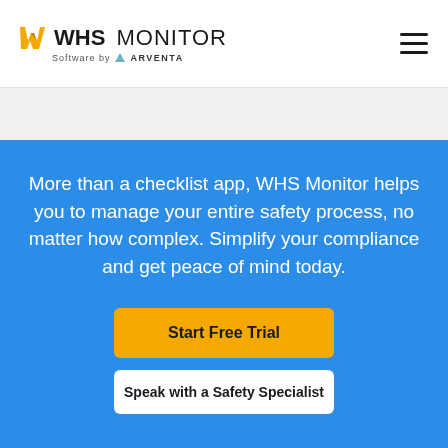[Figure (logo): WHS Monitor logo - Software by Arventa, with stylized W mark in yellow/black]
[Figure (other): Hamburger menu icon - three horizontal lines]
More than a checklist app, WHS Monitor helps you to manage your entire safety process, no matter how complex. Simplify your compliance and get peace of mind today.
Start Free Trial
Speak with a Safety Specialist